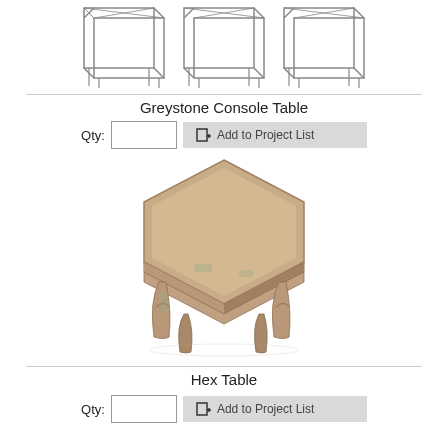[Figure (photo): Wireframe/line drawing of a console table shown from multiple angles]
Greystone Console Table
Qty: [input] [Add to Project List button]
[Figure (photo): Rustic wooden hexagonal side table with distressed finish in beige/green tones, ornate carved legs]
Hex Table
Qty: [input] [Add to Project List button]